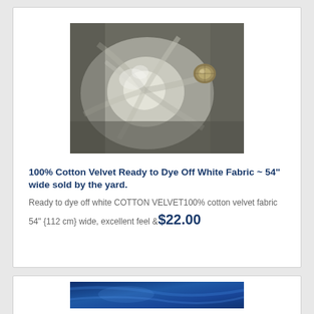[Figure (photo): White cotton velvet fabric swirled with a decorative button/bead on top, photographed from above on a dark background.]
100% Cotton Velvet Ready to Dye Off White Fabric ~ 54" wide sold by the yard.
Ready to dye off white COTTON VELVET100% cotton velvet fabric 54" {112 cm} wide, excellent feel & $22.00
[Figure (photo): Blue velvet fabric, partially visible at the bottom of the page.]